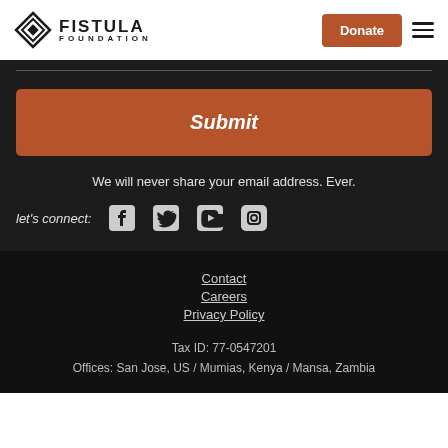[Figure (logo): Fistula Foundation logo with diamond/compass icon and text 'FISTULA FOUNDATION']
Donate
Submit
We will never share your email address. Ever.
let's connect:
[Figure (illustration): Social media icons: Facebook, Twitter, YouTube, Instagram]
Contact
Careers
Privacy Policy
Tax ID: 77-0547201
Offices: San Jose, US / Mumias, Kenya / Mansa, Zambia